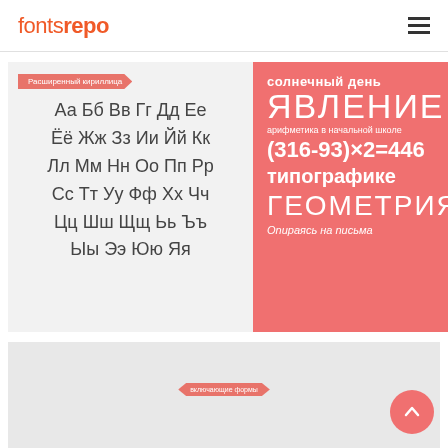fontsrepo
[Figure (illustration): Font showcase panel with Cyrillic alphabet display on light gray background, labeled 'Расширенный кириллица', showing full Cyrillic character set: Аа Бб Вв Гг Дд Ее Ёё Жж Зз Ии Йй Кк Лл Мм Нн Оо Пп Рр Сс Тт Уу Фф Хх Чч Цц Шш Щщ Ьь Ъъ Ыы Ээ Юю Яя]
[Figure (illustration): Salmon/coral colored font sample panel with Cyrillic text: солнечный день, ЯВЛЕНИЕ, арифметика в начальной школе, (316-93)×2=446, типографике, ГЕОМЕТРИЯ, Опираясь на письма]
[Figure (illustration): Light gray panel showing partial large bold Cyrillic letters at bottom, with ribbon tag 'включающие формы']